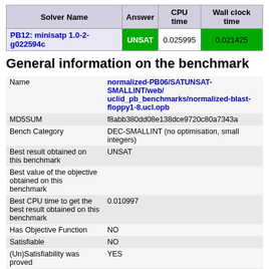| Solver Name | Answer | CPU time | Wall clock time |
| --- | --- | --- | --- |
| PB12: minisatp 1.0-2-g022594c | UNSAT | 0.025995 | 0.021425 |
General information on the benchmark
|  |  |
| --- | --- |
| Name | normalized-PB06/SATUNSAT-SMALLINT/web/uclid_pb_benchmarks/normalized-blast-floppy1-8.ucl.opb |
| MD5SUM | f8abb380dd08e138dce9720c80a7343a |
| Bench Category | DEC-SMALLINT (no optimisation, small integers) |
| Best result obtained on this benchmark | UNSAT |
| Best value of the objective obtained on this benchmark |  |
| Best CPU time to get the best result obtained on this benchmark | 0.010997 |
| Has Objective Function | NO |
| Satisfiable | NO |
| (Un)Satisfiability was proved | YES |
| Best value of the objective function |  |
| Optimality of the best value |  |